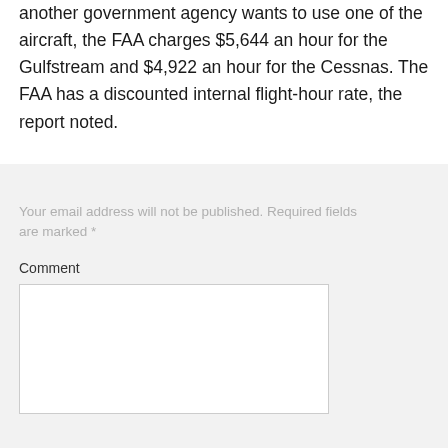another government agency wants to use one of the aircraft, the FAA charges $5,644 an hour for the Gulfstream and $4,922 an hour for the Cessnas. The FAA has a discounted internal flight-hour rate, the report noted.
Your email address will not be published. Required fields are marked *
Comment